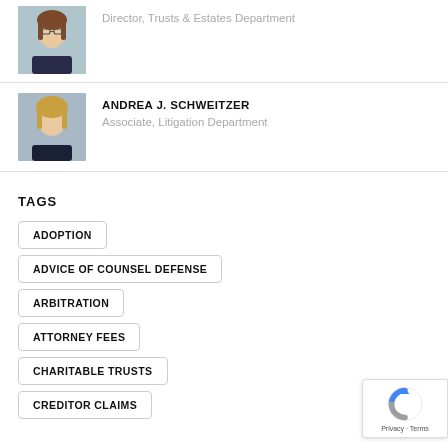[Figure (photo): Professional headshot of a woman with glasses, brown hair, dark jacket]
Director, Trusts & Estates Department
[Figure (photo): Professional headshot of a woman with blonde hair, dark jacket]
ANDREA J. SCHWEITZER
Associate, Litigation Department
TAGS
ADOPTION
ADVICE OF COUNSEL DEFENSE
ARBITRATION
ATTORNEY FEES
CHARITABLE TRUSTS
CREDITOR CLAIMS